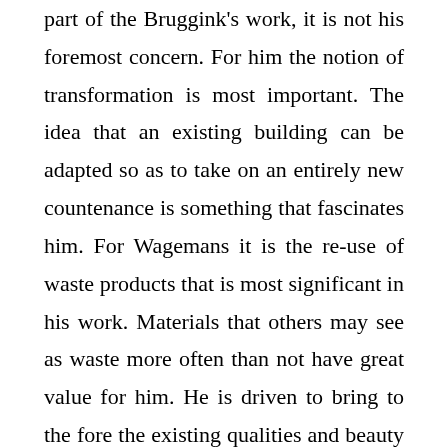part of the Bruggink's work, it is not his foremost concern. For him the notion of transformation is most important. The idea that an existing building can be adapted so as to take on an entirely new countenance is something that fascinates him. For Wagemans it is the re-use of waste products that is most significant in his work. Materials that others may see as waste more often than not have great value for him. He is driven to bring to the fore the existing qualities and beauty of these forgotten materials.